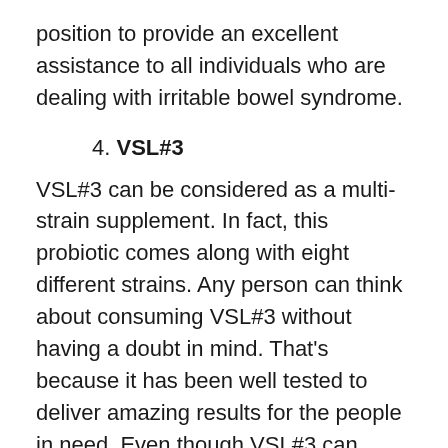position to provide an excellent assistance to all individuals who are dealing with irritable bowel syndrome.
4. VSL#3
VSL#3 can be considered as a multi-strain supplement. In fact, this probiotic comes along with eight different strains. Any person can think about consuming VSL#3 without having a doubt in mind. That’s because it has been well tested to deliver amazing results for the people in need. Even though VSL#3 can deliver positive results to a wide group of individuals, it is a somewhat weak supplement when compared to others. Therefore, VSL#3 cannot be considered as the best option available, especially if you